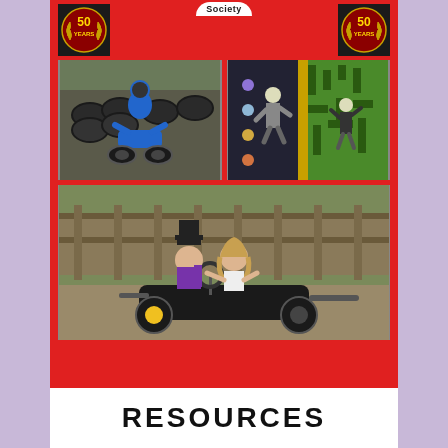[Figure (photo): 50 Years badge (left) — gold laurel wreath emblem on dark background]
[Figure (logo): Society logo at top center — white curved banner with 'Society' text]
[Figure (photo): 50 Years badge (right) — gold laurel wreath emblem on dark background]
[Figure (photo): Child in blue suit and helmet riding a quad bike through a tyre obstacle course]
[Figure (photo): Indoor climbing wall with coloured lights and a person climbing a maze-patterned wall]
[Figure (photo): Two children riding a go-kart, one dressed as a magician in hat and purple outfit, outdoors on a farm track]
RESOURCES